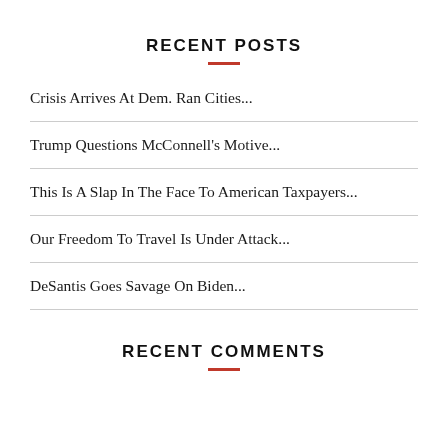RECENT POSTS
Crisis Arrives At Dem. Ran Cities...
Trump Questions McConnell's Motive...
This Is A Slap In The Face To American Taxpayers...
Our Freedom To Travel Is Under Attack...
DeSantis Goes Savage On Biden...
RECENT COMMENTS